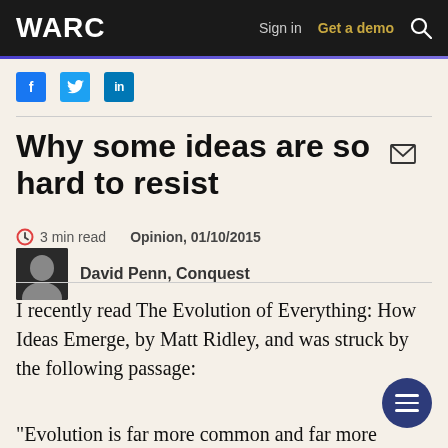WARC  Sign in  Get a demo
[Figure (other): Social sharing icons: Facebook, Twitter, LinkedIn, and email envelope icon]
Why some ideas are so hard to resist
3 min read   Opinion, 01/10/2015
David Penn, Conquest
I recently read The Evolution of Everything: How Ideas Emerge, by Matt Ridley, and was struck by the following passage:
"Evolution is far more common and far more